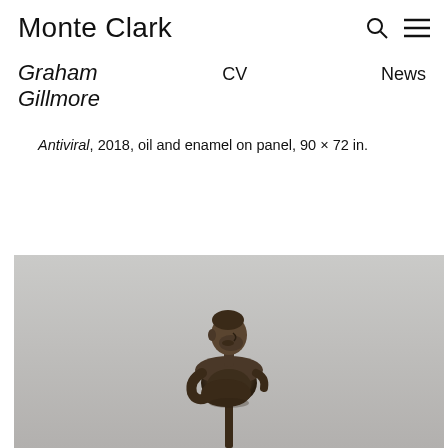Monte Clark
Graham Gillmore   CV   News
Antiviral, 2018, oil and enamel on panel, 90 × 72 in.
[Figure (photo): A bronze sculpture of an elongated human bust/torso figure mounted on a thin vertical rod, photographed against a light grey background. The figure appears contorted and expressive, reminiscent of Giacometti-style sculpture.]